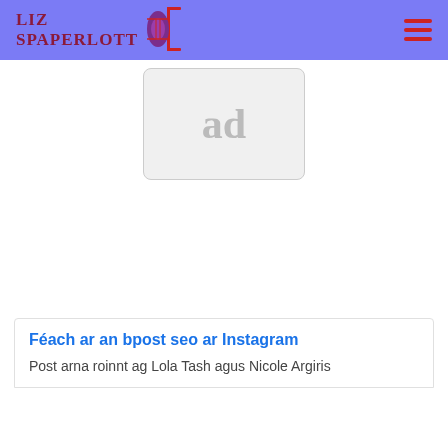LizSpaperlott
[Figure (other): Advertisement placeholder box with text 'ad']
Féach ar an bpost seo ar Instagram
Post arna roinnt ag Lola Tash agus Nicole Argiris